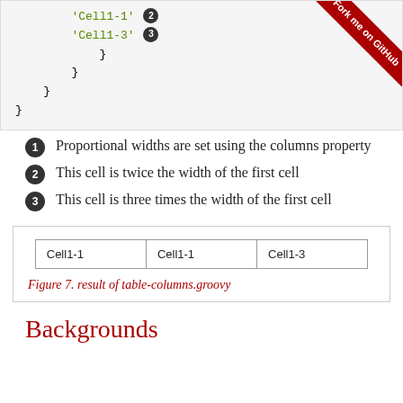[Figure (screenshot): Code block showing Groovy/DSL cell definitions with indented closing braces and numbered badges for Cell1-1 (2) and Cell1-3 (3), with a 'Fork me on GitHub' ribbon in the top-right corner.]
Proportional widths are set using the columns property
This cell is twice the width of the first cell
This cell is three times the width of the first cell
| Cell1-1 | Cell1-1 | Cell1-3 |
Figure 7. result of table-columns.groovy
Backgrounds